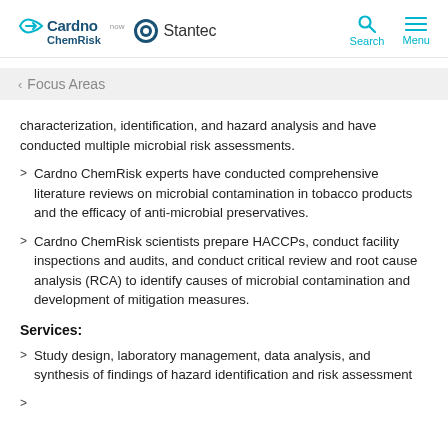Cardno ChemRisk now Stantec — Search Menu
< Focus Areas
characterization, identification, and hazard analysis and have conducted multiple microbial risk assessments.
Cardno ChemRisk experts have conducted comprehensive literature reviews on microbial contamination in tobacco products and the efficacy of anti-microbial preservatives.
Cardno ChemRisk scientists prepare HACCPs, conduct facility inspections and audits, and conduct critical review and root cause analysis (RCA) to identify causes of microbial contamination and development of mitigation measures.
Services:
Study design, laboratory management, data analysis, and synthesis of findings of hazard identification and risk assessment